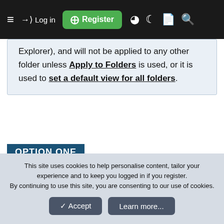≡  → Log in  [+] Register  ◉  ☾  📄  🔍
Explorer), and will not be applied to any other folder unless Apply to Folders is used, or it is used to set a default view for all folders.
OPTION ONE
To Manually Drag Columns to Change
This site uses cookies to help personalise content, tailor your experience and to keep you logged in if you register.
By continuing to use this site, you are consenting to our use of cookies.
✓ Accept
Learn more...